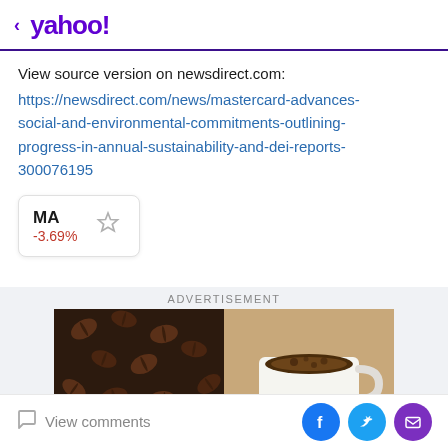< yahoo!
View source version on newsdirect.com:
https://newsdirect.com/news/mastercard-advances-social-and-environmental-commitments-outlining-progress-in-annual-sustainability-and-dei-reports-300076195
MA -3.69%
[Figure (other): Advertisement section with photo of coffee beans and a cup of black coffee]
View comments
Social share buttons: Facebook, Twitter, Email